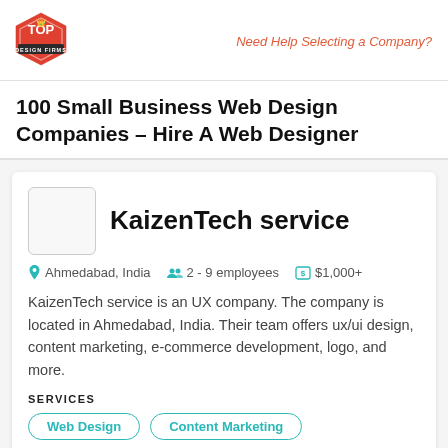Top Design Firms logo | Need Help Selecting a Company?
100 Small Business Web Design Companies – Hire A Web Designer
[Figure (logo): Company logo placeholder box for KaizenTech service]
KaizenTech service
Ahmedabad, India  2 - 9 employees  $1,000+
KaizenTech service is an UX company. The company is located in Ahmedabad, India. Their team offers ux/ui design, content marketing, e-commerce development, logo, and more.
SERVICES
Web Design
Content Marketing